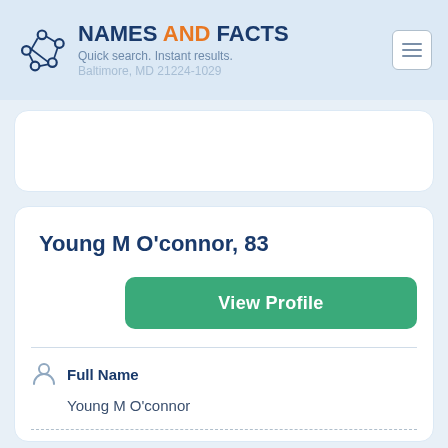NAMES AND FACTS — Quick search. Instant results.
Baltimore, MD 21224-1029
Young M O'connor, 83
View Profile
Full Name
Young M O'connor
Also known as
Young M O'connor JR